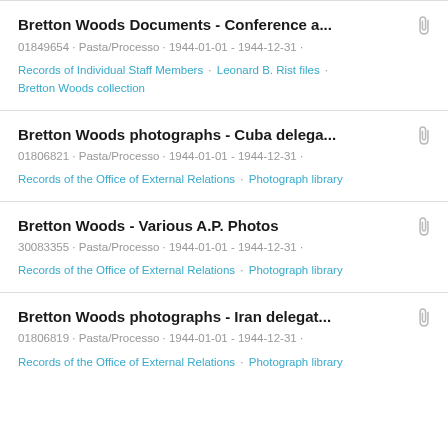Bretton Woods Documents - Conference a...
01849654 · Pasta/Processo · 1944-01-01 - 1944-12-31 ·
Records of Individual Staff Members · Leonard B. Rist files · Bretton Woods collection
Bretton Woods photographs - Cuba delega...
01806821 · Pasta/Processo · 1944-01-01 - 1944-12-31 ·
Records of the Office of External Relations · Photograph library
Bretton Woods - Various A.P. Photos
30083355 · Pasta/Processo · 1944-01-01 - 1944-12-31 ·
Records of the Office of External Relations · Photograph library
Bretton Woods photographs - Iran delegat...
01806819 · Pasta/Processo · 1944-01-01 - 1944-12-31 ·
Records of the Office of External Relations · Photograph library